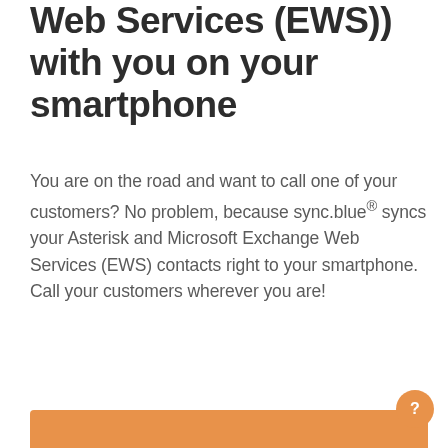Web Services (EWS)) with you on your smartphone
You are on the road and want to call one of your customers? No problem, because sync.blue® syncs your Asterisk and Microsoft Exchange Web Services (EWS) contacts right to your smartphone. Call your customers wherever you are!